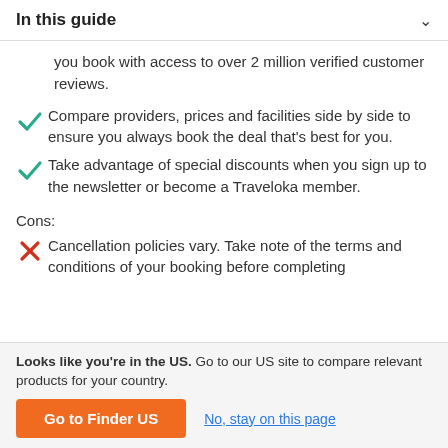In this guide
you book with access to over 2 million verified customer reviews.
Compare providers, prices and facilities side by side to ensure you always book the deal that's best for you.
Take advantage of special discounts when you sign up to the newsletter or become a Traveloka member.
Cons:
Cancellation policies vary. Take note of the terms and conditions of your booking before completing
Looks like you're in the US. Go to our US site to compare relevant products for your country.
Go to Finder US
No, stay on this page